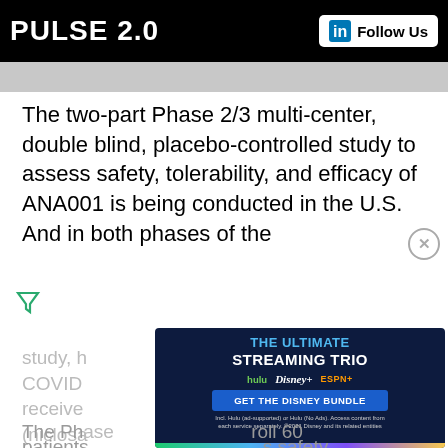PULSE 2.0  Follow Us
The two-part Phase 2/3 multi-center, double blind, placebo-controlled study to assess safety, tolerability, and efficacy of ANA001 is being conducted in the U.S. And in both phases of the study, hospitalized patients who test positive for COVID... receive... (niclosam... care tre...
[Figure (screenshot): Disney Bundle advertisement overlay showing 'THE ULTIMATE STREAMING TRIO' with Hulu, Disney+, and ESPN+ logos, and a 'GET THE DISNEY BUNDLE' button]
The Ph... enroll 60 patients... safety